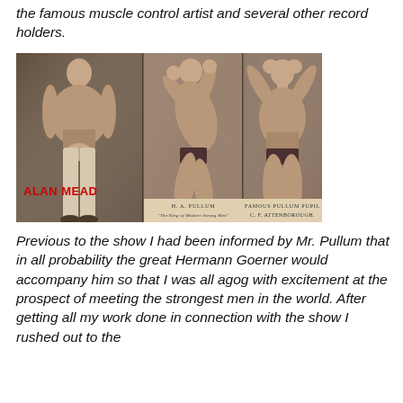the famous muscle control artist and several other record holders.
[Figure (photo): Three-panel sepia photograph showing bodybuilders/strongmen. Left panel: Alan Mead posing. Middle panel: H. A. Pullum labeled 'The King of Modern Strong Men'. Right panel: Famous Pullum Pupil C. F. Attenborough.]
Previous to the show I had been informed by Mr. Pullum that in all probability the great Hermann Goerner would accompany him so that I was all agog with excitement at the prospect of meeting the strongest men in the world. After getting all my work done in connection with the show I rushed out to the